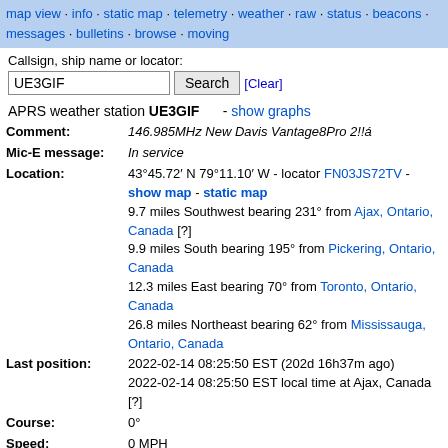map view · info · static map · telemetry · weather · raw · status · beacons · messages · bulletins · browse · moving
Callsign, ship name or locator:
APRS weather station UE3GIF - show graphs
| Comment: | 146.985MHz New Davis Vantage8Pro 2!!á |
| Mic-E message: | In service |
| Location: | 43°45.72′ N 79°11.10′ W - locator FN03JS72TV - show map - static map
9.7 miles Southwest bearing 231° from Ajax, Ontario, Canada [?]
9.9 miles South bearing 195° from Pickering, Ontario, Canada
12.3 miles East bearing 70° from Toronto, Ontario, Canada
26.8 miles Northeast bearing 62° from Mississauga, Ontario, Canada |
| Last position: | 2022-02-14 08:25:50 EST (202d 16h37m ago)
2022-02-14 08:25:50 EST local time at Ajax, Canada [?] |
| Course: | 0° |
| Speed: | 0 MPH |
| Last WX report: | 2021-10-13 10:56:53 EDT (326d 15h6m ago) – show weather charts
66 °F 86% 1014.1 mbar 0.0 MPH West |
| Device: | Kenwood: TM-D710 (rig) |
| Last path: | UE3GIF>T3TU7R via VE3GXV*,WIDE2,qAR,VE3YAP  Good path! |
| Positions stored: | 3 |